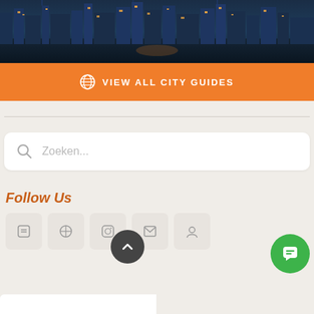[Figure (photo): Nighttime city skyline / waterfront photo with buildings lit up in warm lights, dark teal/navy tones, reflections on water]
VIEW ALL CITY GUIDES
[Figure (other): Search box with magnifying glass icon and placeholder text 'Zoeken...']
Follow Us
[Figure (other): Row of 5 social media icon boxes (rounded square buttons with icons)]
[Figure (other): Back to top button - dark circle with upward chevron arrow]
[Figure (other): Green chat/support button circle in bottom right corner]